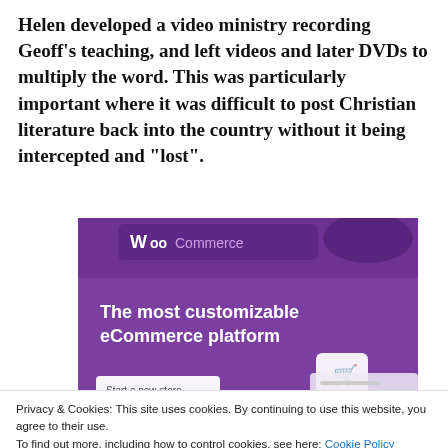Helen developed a video ministry recording Geoff's teaching, and left videos and later DVDs to multiply the word. This was particularly important where it was difficult to post Christian literature back into the country without it being intercepted and “lost”.
[Figure (screenshot): WooCommerce advertisement banner showing 'The most customizable eCommerce platform' with a purple background, shopping cart icon, and 'Start a new store' button]
Privacy & Cookies: This site uses cookies. By continuing to use this website, you agree to their use.
To find out more, including how to control cookies, see here: Cookie Policy
Don was just “there” most of the time, but with the